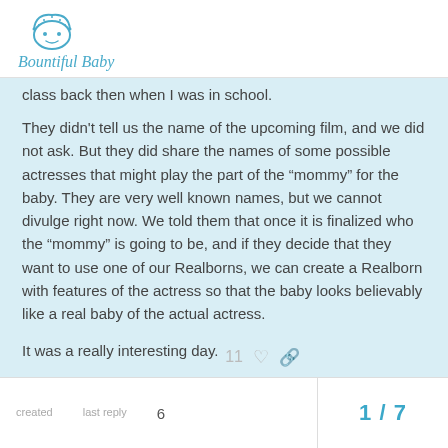Bountiful Baby
class back then when I was in school.
They didn't tell us the name of the upcoming film, and we did not ask. But they did share the names of some possible actresses that might play the part of the “mommy” for the baby. They are very well known names, but we cannot divulge right now. We told them that once it is finalized who the “mommy” is going to be, and if they decide that they want to use one of our Realborns, we can create a Realborn with features of the actress so that the baby looks believably like a real baby of the actual actress.
It was a really interesting day.
Nevin Pratt
CEO, Bountiful Baby
created   last reply   6   1 / 7